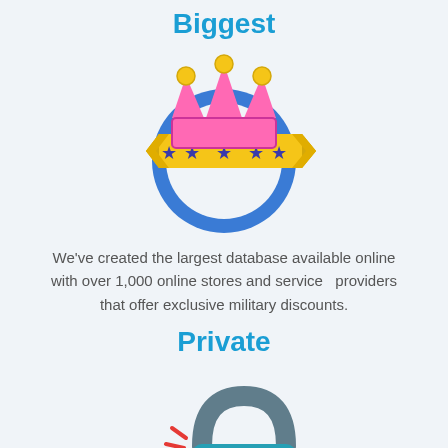Biggest
[Figure (illustration): Crown badge icon: pink crown on top of a blue circle ring, with a yellow banner ribbon across the middle containing 5 purple stars]
We've created the largest database available online with over 1,000 online stores and service providers that offer exclusive military discounts.
Private
[Figure (illustration): Padlock icon: gray shackle, teal lock body with an orange person silhouette, red spark lines on the left side indicating unlocking]